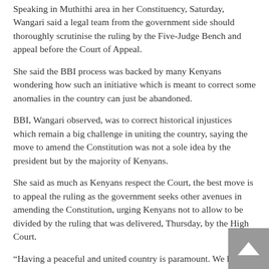Speaking in Muthithi area in her Constituency, Saturday, Wangari said a legal team from the government side should thoroughly scrutinise the ruling by the Five-Judge Bench and appeal before the Court of Appeal.
She said the BBI process was backed by many Kenyans wondering how such an initiative which is meant to correct some anomalies in the country can just be abandoned.
BBI, Wangari observed, was to correct historical injustices which remain a big challenge in uniting the country, saying the move to amend the Constitution was not a sole idea by the president but by the majority of Kenyans.
She said as much as Kenyans respect the Court, the best move is to appeal the ruling as the government seeks other avenues in amending the Constitution, urging Kenyans not to allow to be divided by the ruling that was delivered, Thursday, by the High Court.
“Having a peaceful and united country is paramount. We have witnessed chaos that rocks our country, especially during national elections. BBI was meant to correct this and the process was going on well until it was termed unlawful by the Court,” stated the Legislator.